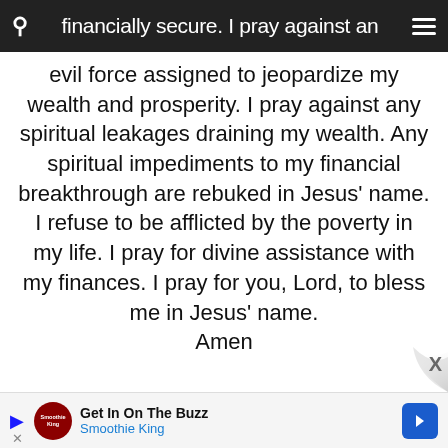financially secure. I pray against an evil force assigned to jeopardize my
wealth and prosperity. I pray against any spiritual leakages draining my wealth. Any spiritual impediments to my financial breakthrough are rebuked in Jesus' name. I refuse to be afflicted by the poverty in my life. I pray for divine assistance with my finances. I pray for you, Lord, to bless me in Jesus' name.
Amen
Get In On The Buzz
Smoothie King